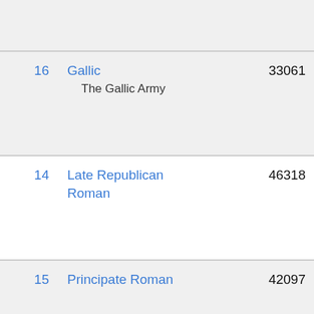| # | Name | Count | Date |
| --- | --- | --- | --- |
|  |  |  | Sep, 2016 12:11 BST |
| 16 | Gallic
The Gallic Army | 33061 | Tue 12 of Nov, 2019 19:00 GMT Mass sea and repla |
| 14 | Late Republican Roman | 46318 | Tue 12 of Nov, 2019 19:00 GMT Mass sea and repla |
| 15 | Principate Roman | 42097 | Tue 12 of Nov, 2019 19:00 GMT Mass sea |